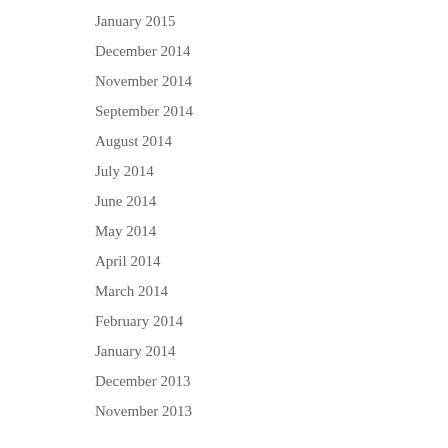January 2015
December 2014
November 2014
September 2014
August 2014
July 2014
June 2014
May 2014
April 2014
March 2014
February 2014
January 2014
December 2013
November 2013